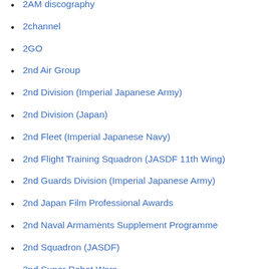2AM discography
2channel
2GO
2nd Air Group
2nd Division (Imperial Japanese Army)
2nd Division (Japan)
2nd Fleet (Imperial Japanese Navy)
2nd Flight Training Squadron (JASDF 11th Wing)
2nd Guards Division (Imperial Japanese Army)
2nd Japan Film Professional Awards
2nd Naval Armaments Supplement Programme
2nd Squadron (JASDF)
2nd Super Robot Wars